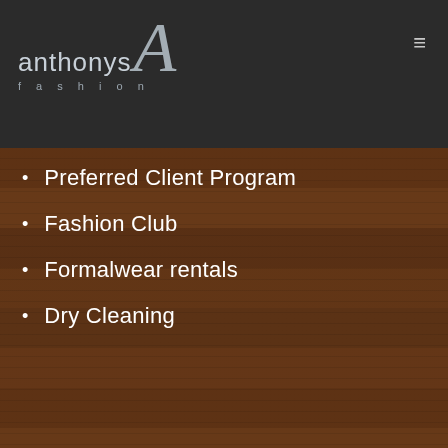[Figure (logo): Anthony's Fashion logo with stylized A letter on dark background navigation bar]
Preferred Client Program
Fashion Club
Formalwear rentals
Dry Cleaning
check out our services
[Figure (photo): Exterior storefront photo of Anthony's Fashion showing windows and vertical brand signage]